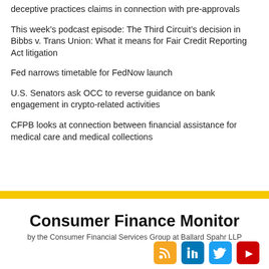deceptive practices claims in connection with pre-approvals
This week’s podcast episode: The Third Circuit’s decision in Bibbs v. Trans Union: What it means for Fair Credit Reporting Act litigation
Fed narrows timetable for FedNow launch
U.S. Senators ask OCC to reverse guidance on bank engagement in crypto-related activities
CFPB looks at connection between financial assistance for medical care and medical collections
Consumer Finance Monitor
by the Consumer Financial Services Group at Ballard Spahr LLP